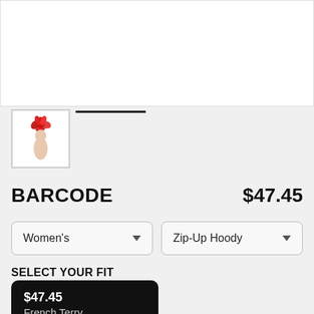[Figure (photo): White product image display area (top of page)]
[Figure (photo): Thumbnail of product with red floral design, shown with underline indicating selected state]
BARCODE
$47.45
Women's
Zip-Up Hoody
SELECT YOUR FIT
$47.45
French Terry